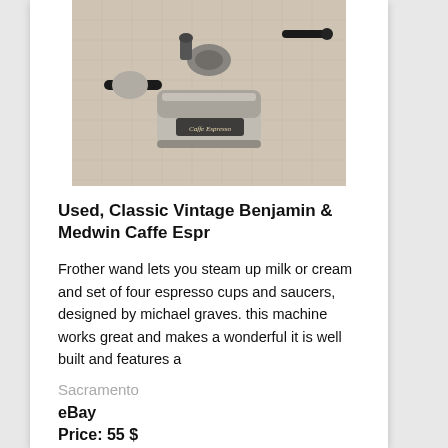[Figure (photo): Photo of a used vintage stainless steel espresso machine (Benjamin & Medwin Caffe Espresso) viewed from above, showing portafilter and steam wand, placed on a light fabric background.]
Used, Classic Vintage Benjamin & Medwin Caffe Espr
Frother wand lets you steam up milk or cream and set of four espresso cups and saucers, designed by michael graves. this machine works great and makes a wonderful it is well built and features a
Sacramento
eBay
Price: 55 $
Product condition: Used